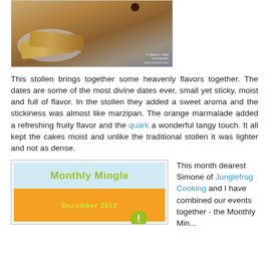[Figure (photo): Food photo showing biscotti/stollen slices on a plate with a date fruit, with copyright watermark]
This stollen brings together some heavenly flavors together. The dates are some of the most divine dates ever, small yet sticky, moist and full of flavor. In the stollen they added a sweet aroma and the stickiness was almost like marzipan. The orange marmalade added a refreshing fruity flavor and the quark a wonderful tangy touch. It all kept the cakes moist and unlike the traditional stollen it was lighter and not as dense.
[Figure (other): Monthly Mingle badge/logo with December 2012 text on orange background and light blue top section]
This month dearest Simone of Junglefrog Cooking and I have combined our events together - the Monthly Min...